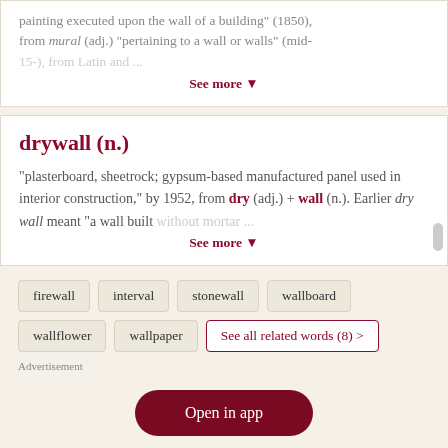painting executed upon the wall of a building" (1850), from mural (adj.) "pertaining to a wall or walls" (mid-15-...
See more ▼
drywall (n.)
"plasterboard, sheetrock; gypsum-based manufactured panel used in interior construction," by 1952, from dry (adj.) + wall (n.). Earlier dry wall meant "a wall built without mortar..."
See more ▼
firewall
interval
stonewall
wallboard
wallflower
wallpaper
See all related words (8) >
Advertisement
Open in app